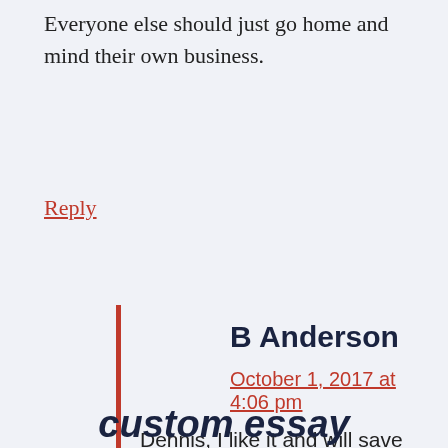Everyone else should just go home and mind their own business.
Reply
B Anderson
October 1, 2017 at 4:06 pm
Dennis, I like it and will save this quote.
Reply
custom essay